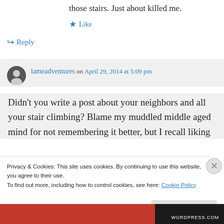those stairs. Just about killed me.
★ Like
↪ Reply
lameadventures on April 29, 2014 at 5:09 pm
Didn't you write a post about your neighbors and all your stair climbing? Blame my muddled middle aged mind for not remembering it better, but I recall liking
Privacy & Cookies: This site uses cookies. By continuing to use this website, you agree to their use. To find out more, including how to control cookies, see here: Cookie Policy
Close and accept